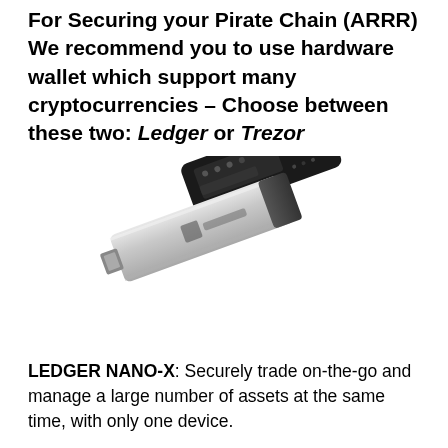For Securing your Pirate Chain (ARRR) We recommend you to use hardware wallet which support many cryptocurrencies – Choose between these two: Ledger or Trezor
[Figure (photo): Photo of two hardware wallets: a black Trezor device (top) and a silver Ledger Nano X device (bottom), shown at an angle.]
LEDGER NANO-X: Securely trade on-the-go and manage a large number of assets at the same time, with only one device.
Secure
Mobile Friendly